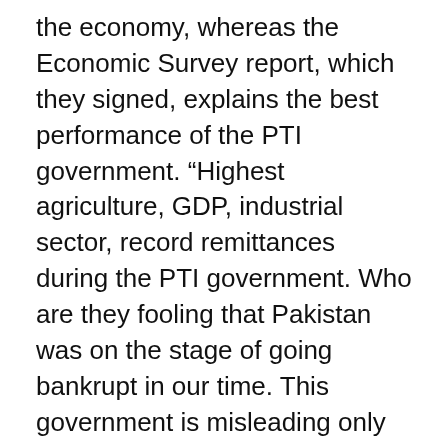the economy, whereas the Economic Survey report, which they signed, explains the best performance of the PTI government. “Highest agriculture, GDP, industrial sector, record remittances during the PTI government. Who are they fooling that Pakistan was on the stage of going bankrupt in our time. This government is misleading only and only the people by manipulating the figures,” he charged.
He said this year's fiscal deficit was still Rs4.55 trillion. "Rupee has come down due to their inadequacy and they are facing failures because of their stupidity."
“Our budget was progressive, while the